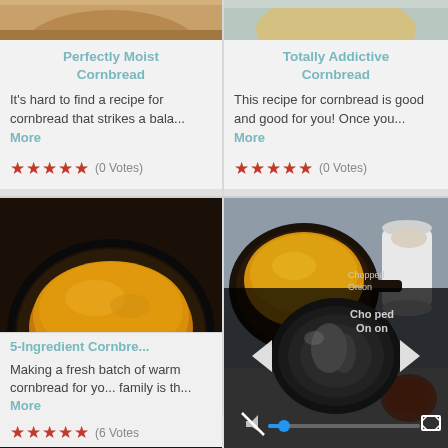[Figure (photo): Partial photo of cornbread dish, top of left card (cropped at top)]
[Figure (photo): Partial photo of cornbread dish, top of right card (cropped at top)]
Perfectly Moist Cornbread
It's hard to find a recipe for cornbread that strikes a bala... More
★★★★★ (0 Votes)
Totally Addictive Cornbread
This recipe for cornbread is good and good for you! Once you... More
★★★★★ (0 Votes)
[Figure (photo): Cornbread in cast iron skillet, bottom left card]
[Figure (photo): Cornbread in cast iron skillet on table with condiments, bottom right card, with video player overlay]
5-Ingredient Cornbre...
Making a fresh batch of warm cornbread for yo... family is th... More
★★★★★ (6 Votes)
Chopped Onion (partially visible logo/text)